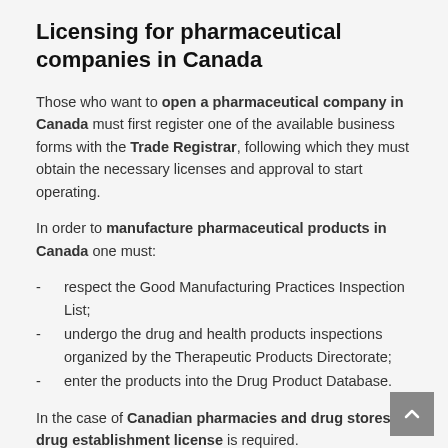Licensing for pharmaceutical companies in Canada
Those who want to open a pharmaceutical company in Canada must first register one of the available business forms with the Trade Registrar, following which they must obtain the necessary licenses and approval to start operating.
In order to manufacture pharmaceutical products in Canada one must:
respect the Good Manufacturing Practices Inspection List;
undergo the drug and health products inspections organized by the Therapeutic Products Directorate;
enter the products into the Drug Product Database.
In the case of Canadian pharmacies and drug stores, a drug establishment license is required.
In the case of companies producing medical devices, a medical